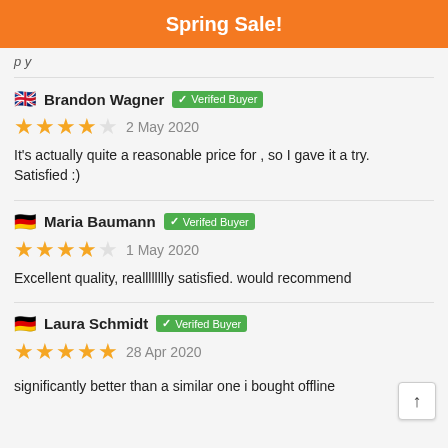Spring Sale!
...p y
Brandon Wagner  Verifed Buyer
★★★★☆  2 May 2020
It's actually quite a reasonable price for , so I gave it a try. Satisfied :)
Maria Baumann  Verifed Buyer
★★★★☆  1 May 2020
Excellent quality, realllllllly satisfied. would recommend
Laura Schmidt  Verifed Buyer
★★★★★  28 Apr 2020
significantly better than a similar one i bought offline